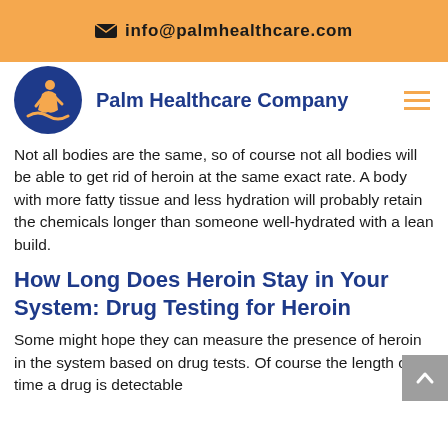✉ info@palmhealthcare.com
[Figure (logo): Palm Healthcare Company circular logo with blue background and orange figure, with brand name 'Palm Healthcare Company' in dark blue next to it]
Not all bodies are the same, so of course not all bodies will be able to get rid of heroin at the same exact rate. A body with more fatty tissue and less hydration will probably retain the chemicals longer than someone well-hydrated with a lean build.
How Long Does Heroin Stay in Your System: Drug Testing for Heroin
Some might hope they can measure the presence of heroin in the system based on drug tests. Of course the length of time a drug is detectable